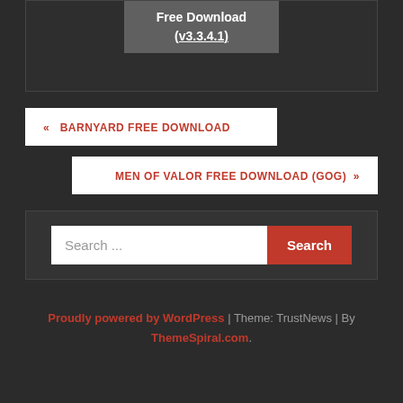[Figure (screenshot): Dark card with gray box showing 'Free Download (v3.3.4.1)' text in white]
« BARNYARD FREE DOWNLOAD
MEN OF VALOR FREE DOWNLOAD (GOG) »
Search ...
Proudly powered by WordPress | Theme: TrustNews | By ThemeSpiral.com.